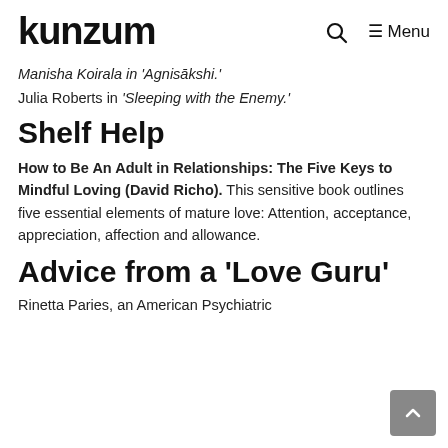kunzum  🔍  ≡ Menu
Manisha Koirala in 'Agnisakshi.'
Julia Roberts in 'Sleeping with the Enemy.'
Shelf Help
How to Be An Adult in Relationships: The Five Keys to Mindful Loving (David Richo). This sensitive book outlines five essential elements of mature love: Attention, acceptance, appreciation, affection and allowance.
Advice from a 'Love Guru'
Rinetta Paries, an American Psychiatric